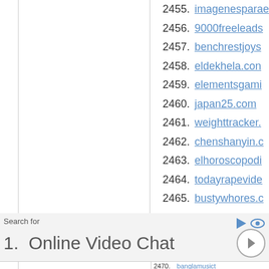2455. imagenesparae...
2456. 9000freeleads...
2457. benchrestjoys...
2458. eldekhela.com...
2459. elementsgami...
2460. japan25.com
2461. weighttracker....
2462. chenshanyin.c...
2463. elhoroscopodi...
2464. todayrapevide...
2465. bustywhores.c...
2466. lottomad.info
Search for
1.  Online Video Chat
2470. banglamusict...